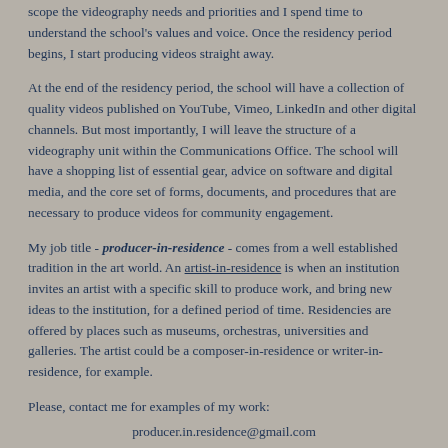scope the videography needs and priorities and I spend time to understand the school's values and voice. Once the residency period begins, I start producing videos straight away.
At the end of the residency period, the school will have a collection of quality videos published on YouTube, Vimeo, LinkedIn and other digital channels. But most importantly, I will leave the structure of a videography unit within the Communications Office. The school will have a shopping list of essential gear, advice on software and digital media, and the core set of forms, documents, and procedures that are necessary to produce videos for community engagement.
My job title - producer-in-residence - comes from a well established tradition in the art world. An artist-in-residence is when an institution invites an artist with a specific skill to produce work, and bring new ideas to the institution, for a defined period of time. Residencies are offered by places such as museums, orchestras, universities and galleries. The artist could be a composer-in-residence or writer-in-residence, for example.
Please, contact me for examples of my work:
producer.in.residence@gmail.com